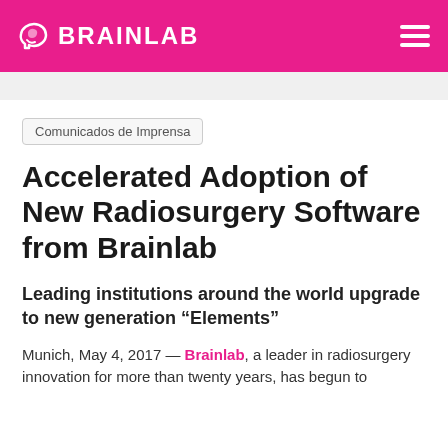BRAINLAB
Comunicados de Imprensa
Accelerated Adoption of New Radiosurgery Software from Brainlab
Leading institutions around the world upgrade to new generation “Elements”
Munich, May 4, 2017 — Brainlab, a leader in radiosurgery innovation for more than twenty years, has begun to successfully partner with leading institutions around the world